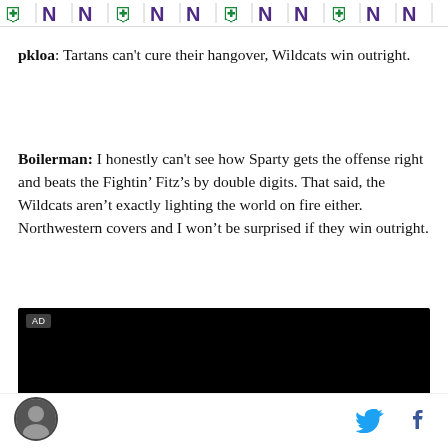MSU Northwestern logo banner strip
pkloa: Tartans can't cure their hangover, Wildcats win outright.
Boilerman: I honestly can't see how Sparty gets the offense right and beats the Fightin’ Fitz’s by double digits. That said, the Wildcats aren’t exactly lighting the world on fire either. Northwestern covers and I won’t be surprised if they win outright.
[Figure (other): Black advertisement video player block with AD label]
Footer with avatar icon, Twitter bird icon, and Facebook f icon